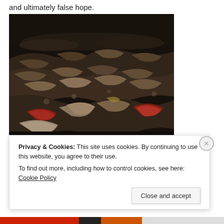and ultimately false hope.
[Figure (photo): A large pile of old, worn shoes photographed in dark, desaturated tones with a few reddish shoes visible. The shoes fill the entire frame, piled on top of each other, photographed from a low angle. Reminiscent of Holocaust memorial imagery.]
Privacy & Cookies: This site uses cookies. By continuing to use this website, you agree to their use.
To find out more, including how to control cookies, see here: Cookie Policy
Close and accept